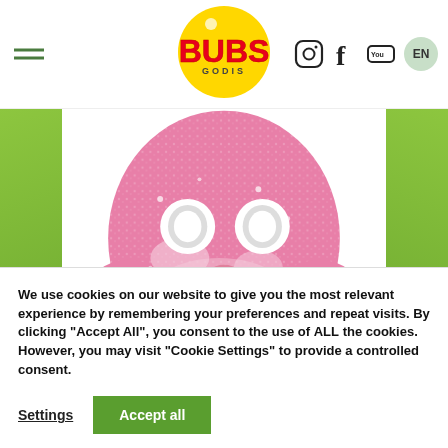BUBS GODIS - Navigation header with hamburger menu, logo, social media icons (Instagram, Facebook, YouTube), and EN language selector
[Figure (photo): Close-up photo of a pink sugar-coated skull-shaped foam candy (Cool Raspberry Skull Foam) with two round holes for eyes, set against a white background, flanked by green decorative side panels]
Cool Raspberry Skull Foam
We use cookies on our website to give you the most relevant experience by remembering your preferences and repeat visits. By clicking "Accept All", you consent to the use of ALL the cookies. However, you may visit "Cookie Settings" to provide a controlled consent.
Settings  Accept all